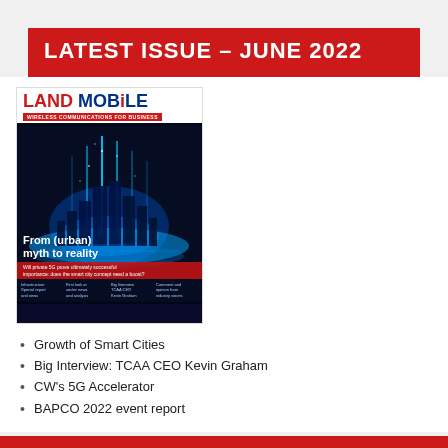LATEST ISSUE – JUNE 2022
[Figure (illustration): Land Mobile magazine cover – June 2022, featuring a glowing smart city skyline with the headline 'From (urban) myth to reality'. Subtitle: Wireless Communications for Business.]
Growth of Smart Cities
Big Interview: TCAA CEO Kevin Graham
CW's 5G Accelerator
BAPCO 2022 event report
REGISTER